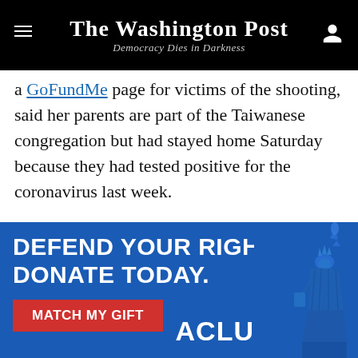The Washington Post — Democracy Dies in Darkness
a GoFundMe page for victims of the shooting, said her parents are part of the Taiwanese congregation but had stayed home Saturday because they had tested positive for the coronavirus last week.
“It kind of saved their life,” she said. “Otherwise, they would have definitely been there.”
Chen described the congregation as close-knit
[Figure (other): ACLU advertisement banner: DEFEND YOUR RIGHTS. DONATE TODAY. MATCH MY GIFT button in red. ACLU logo with Statue of Liberty graphic on right side.]